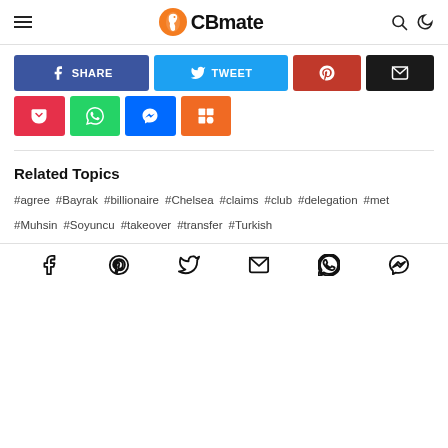CBmate
[Figure (infographic): Social share buttons: Facebook SHARE, Twitter TWEET, Pinterest, Email, Pocket, WhatsApp, Messenger, Mix]
Related Topics
#agree
#Bayrak
#billionaire
#Chelsea
#claims
#club
#delegation
#met
#Muhsin
#Soyuncu
#takeover
#transfer
#Turkish
Social icons: Facebook, Pinterest, Twitter, Email, WhatsApp, Messenger